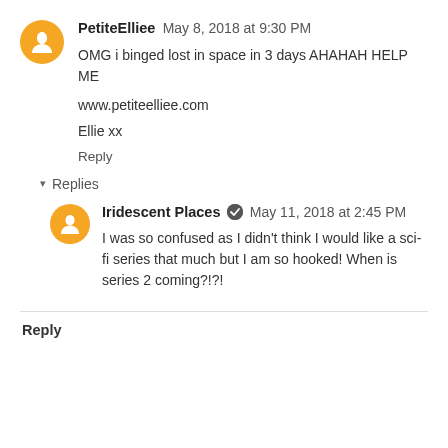PetiteElliee  May 8, 2018 at 9:30 PM
OMG i binged lost in space in 3 days AHAHAH HELP ME

www.petiteelliee.com

Ellie xx

Reply
▾  Replies
Iridescent Places ✔  May 11, 2018 at 2:45 PM
I was so confused as I didn't think I would like a sci-fi series that much but I am so hooked! When is series 2 coming?!?!
Reply